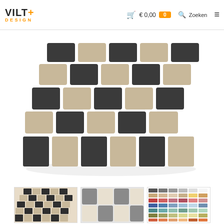VILT+ DESIGN — € 0,00  0  Zoeken  ☰
[Figure (photo): Overhead product photo of a felt woven checkerboard rug/mat in beige/tan and dark charcoal grey, showing the woven tile pattern laid flat with loose tiles scattered at the bottom edge.]
[Figure (photo): Thumbnail 1: Runner version of the checkerboard felt rug in beige and dark grey, shown vertically.]
[Figure (photo): Thumbnail 2: Close-up of checkerboard felt rug in grey and light beige/cream tones.]
[Figure (photo): Thumbnail 3: Color swatch palette showing available felt tile colors in a grid.]